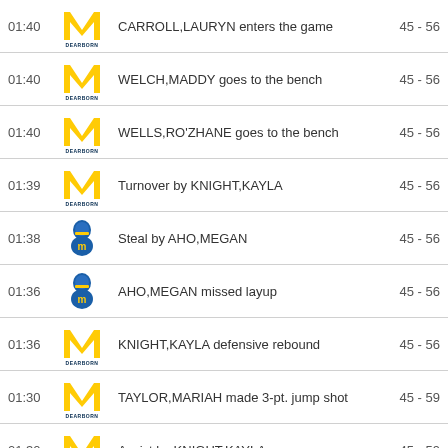| Time | Team | Event | Score |
| --- | --- | --- | --- |
| 01:40 | Michigan Dearborn | CARROLL,LAURYN enters the game | 45 - 56 |
| 01:40 | Michigan Dearborn | WELCH,MADDY goes to the bench | 45 - 56 |
| 01:40 | Michigan Dearborn | WELLS,RO'ZHANE goes to the bench | 45 - 56 |
| 01:39 | Michigan Dearborn | Turnover by KNIGHT,KAYLA | 45 - 56 |
| 01:38 | Opponent | Steal by AHO,MEGAN | 45 - 56 |
| 01:36 | Opponent | AHO,MEGAN missed layup | 45 - 56 |
| 01:36 | Michigan Dearborn | KNIGHT,KAYLA defensive rebound | 45 - 56 |
| 01:30 | Michigan Dearborn | TAYLOR,MARIAH made 3-pt. jump shot | 45 - 59 |
| 01:30 | Michigan Dearborn | Assist by KNIGHT,KAYLA | 45 - 59 |